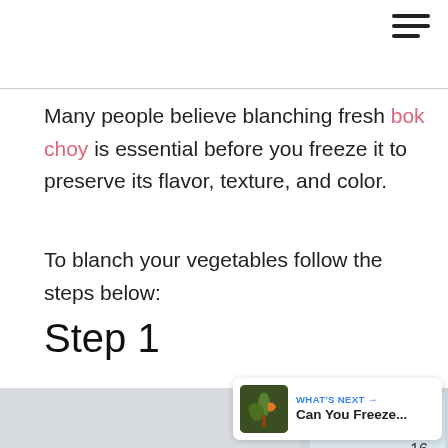☰ (hamburger menu icon)
Many people believe blanching fresh bok choy is essential before you freeze it to preserve its flavor, texture, and color.
To blanch your vegetables follow the steps below:
Step 1
[Figure (photo): Hands washing bok choy under a running kitchen faucet in a sink, with a chrome tap visible.]
WHAT'S NEXT → Can You Freeze...